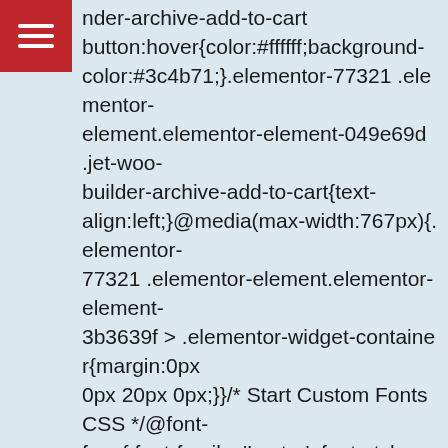[Figure (other): Red hamburger menu icon (three white horizontal lines on red background) in top-left corner]
nder-archive-add-to-cart button:hover{color:#ffffff;background-color:#3c4b71;}.elementor-77321 .elementor-element.elementor-element-049e69d .jet-woo-builder-archive-add-to-cart{text-align:left;}@media(max-width:767px){.elementor-77321 .elementor-element.elementor-element-3b3639f > .elementor-widget-container{margin:0px 0px 20px 0px;}}/* Start Custom Fonts CSS */@font-face{ font-family: 'Lustra'; font-style: normal; font-weight: 900; font-display: auto; src: url('https://www.mx5heaven.co.uk/wp-content/uploads/2021/07/Lustra-Black.eot'); src: url('https://www.mx5heaven.co.uk/wp-content/uploads/2021/07/Lustra-Black.eot?#iefix') format('embedded-opentype'), url('https://www.mx5heaven.co.uk/wp-